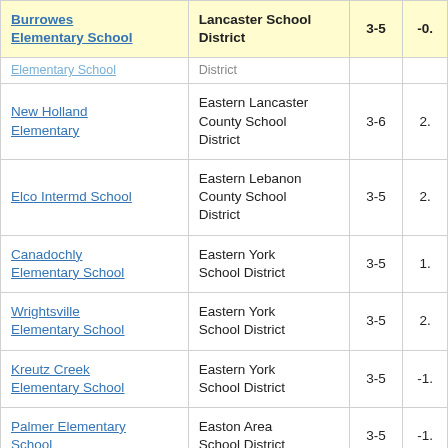| School | District | Grades | Score |
| --- | --- | --- | --- |
| Burrowes Elementary School | Lancaster School District | 3-5 | -0. |
| (Elementary School) | District |  |  |
| New Holland Elementary | Eastern Lancaster County School District | 3-6 | 2. |
| Elco Intermd School | Eastern Lebanon County School District | 3-5 | 2. |
| Canadochly Elementary School | Eastern York School District | 3-5 | 1. |
| Wrightsville Elementary School | Eastern York School District | 3-5 | 2. |
| Kreutz Creek Elementary School | Eastern York School District | 3-5 | -1. |
| Palmer Elementary School | Easton Area School District | 3-5 | -1. |
| (Earle Elementary...) | Easton A... |  |  |